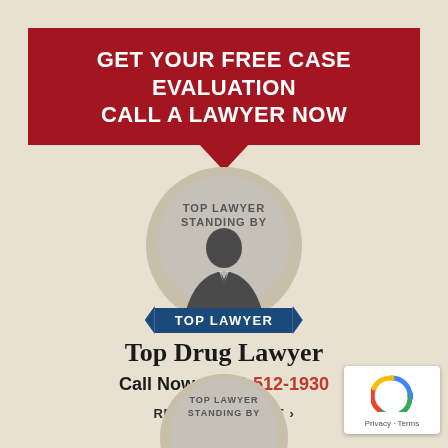GET YOUR FREE CASE EVALUATION
CALL A LAWYER NOW
[Figure (illustration): Circular avatar with silhouette of a lawyer in suit, with text 'TOP LAWYER STANDING BY' and a blue ribbon banner reading 'TOP LAWYER']
Top Drug Lawyer
Call Now: (316) 512-1930
REVIEWS/PROFILE ›
[Figure (illustration): Partial second circular avatar at bottom of page with text 'TOP LAWYER STANDING BY']
[Figure (logo): reCAPTCHA badge with Privacy and Terms links in bottom right corner]